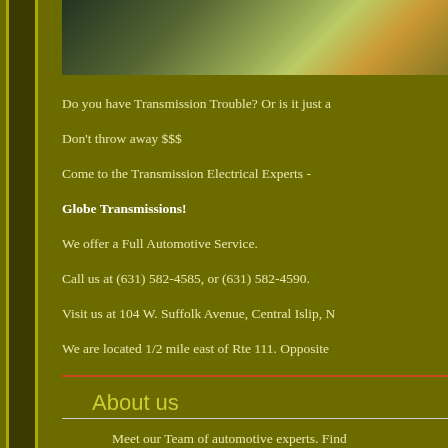[Figure (photo): Partial photo visible at top of page, appears to show a person and foliage/flowers]
Do you have Transmission Trouble? Or is it just a
Don't throw away $$$
Come to the Transmission Electrical Experts -
Globe Transmissions!
We offer a Full Automotive Service.
Call us at (631) 582-4585, or (631) 582-4590.
Visit us at 104 W. Suffolk Avenue, Central Islip, N
We are located 1/2 mile east of Rte 111. Opposite
About us
Meet our Team of automotive experts. Find
why we are qualified to solve your automo
Click here for more details.